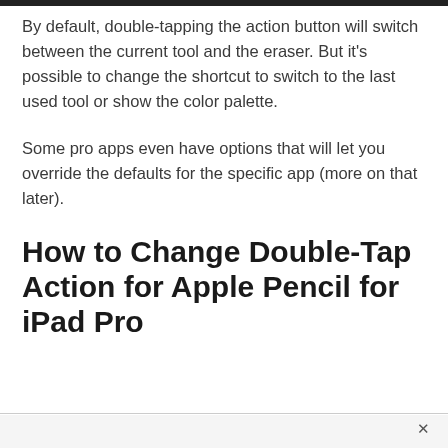By default, double-tapping the action button will switch between the current tool and the eraser. But it's possible to change the shortcut to switch to the last used tool or show the color palette.
Some pro apps even have options that will let you override the defaults for the specific app (more on that later).
How to Change Double-Tap Action for Apple Pencil for iPad Pro